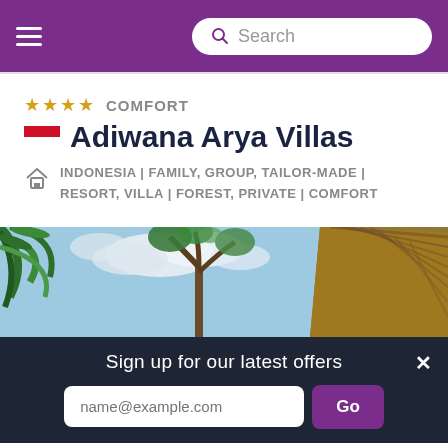Search
★★★★  COMFORT
Adiwana Arya Villas
INDONESIA | FAMILY, GROUP, TAILOR-MADE | RESORT, VILLA | FOREST, PRIVATE | COMFORT
[Figure (photo): Outdoor tropical scene with palm trees, a flowering tree (frangipani/plumeria) against a partly cloudy sky, and a thatched bamboo roof structure on the right]
Sign up for our latest offers
name@example.com
Go